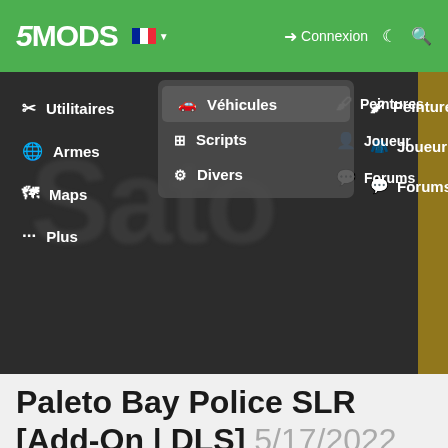5MODS — Connexion
[Figure (screenshot): 5Mods website navigation screenshot showing green header bar with 5MODS logo, French flag, Connexion link, and expanded navigation menu with categories: Utilitaires, Véhicules (highlighted in dropdown), Scripts, Divers, Peintures, Armes, Joueur, Maps, Forums, Plus — over dark background with blurred 'Sato' text]
Paleto Bay Police SLR [Add-On | DLS] 5/17/2022